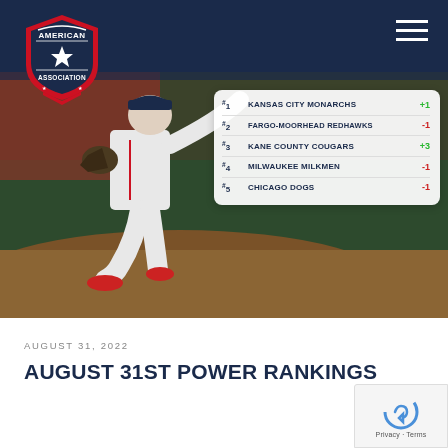[Figure (logo): American Association baseball league logo — red shield shape with star and text]
[Figure (photo): Baseball pitcher in white uniform mid-delivery on pitching mound, blurred stadium background]
| Rank | Team | Change |
| --- | --- | --- |
| #1 | KANSAS CITY MONARCHS | +1 |
| #2 | FARGO-MOORHEAD REDHAWKS | -1 |
| #3 | KANE COUNTY COUGARS | +3 |
| #4 | MILWAUKEE MILKMEN | -1 |
| #5 | CHICAGO DOGS | -1 |
AUGUST 31, 2022
AUGUST 31ST POWER RANKINGS